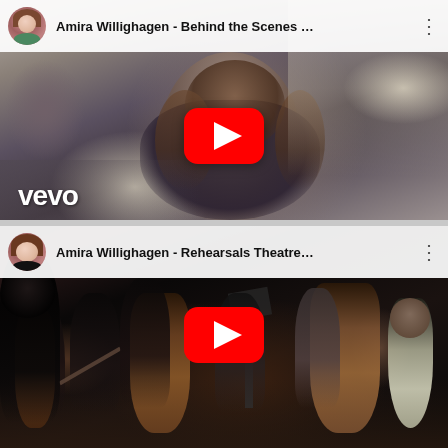[Figure (screenshot): YouTube video thumbnail for 'Amira Willighagen - Behind the Scenes ...' showing a young girl with long brown hair, with a red YouTube play button overlay and Vevo logo in the bottom left. Top bar shows a circular avatar of Amira Willighagen and video title.]
[Figure (screenshot): YouTube video thumbnail for 'Amira Willighagen - Rehearsals Theatre...' showing musicians and a girl on a dark stage, with a red YouTube play button overlay. Top bar shows a circular avatar of Amira Willighagen and video title.]